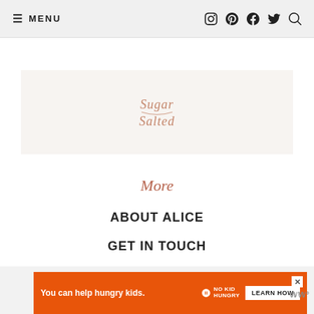☰ MENU  [icons: Instagram, Pinterest, Facebook, Twitter, Search]
[Figure (logo): Sugar Salted logo in cursive rose-gold script on light beige background]
More
ABOUT ALICE
GET IN TOUCH
RECIPE INDEX
[Figure (infographic): Orange advertisement banner: 'You can help hungry kids. NO KID HUNGRY. LEARN HOW' with close button and wordmark]